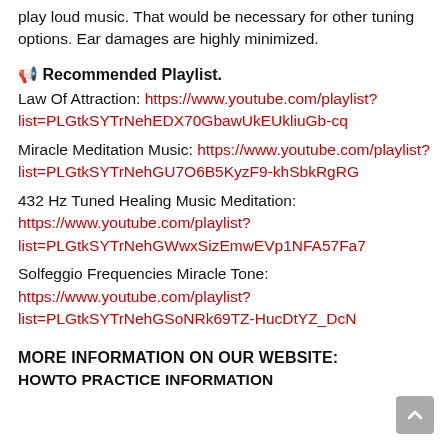play loud music. That would be necessary for other tuning options. Ear damages are highly minimized.
📢 Recommended Playlist.
Law Of Attraction: https://www.youtube.com/playlist?list=PLGtkSYTrNehEDX70GbawUkEUkliuGb-cq
Miracle Meditation Music: https://www.youtube.com/playlist?list=PLGtkSYTrNehGU7O6B5KyzF9-khSbkRgRG
432 Hz Tuned Healing Music Meditation: https://www.youtube.com/playlist?list=PLGtkSYTrNehGWwxSizEmwEVp1NFA57Fa7
Solfeggio Frequencies Miracle Tone: https://www.youtube.com/playlist?list=PLGtkSYTrNehGSoNRk69TZ-HucDtYZ_DcN
MORE INFORMATION ON OUR WEBSITE:
HOWTO PRACTICE INFORMATION